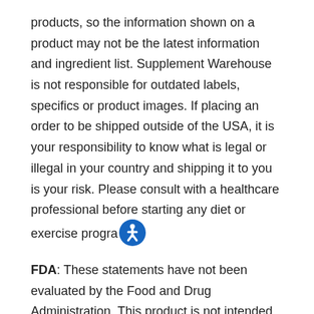products, so the information shown on a product may not be the latest information and ingredient list. Supplement Warehouse is not responsible for outdated labels, specifics or product images. If placing an order to be shipped outside of the USA, it is your responsibility to know what is legal or illegal in your country and shipping it to you is your risk. Please consult with a healthcare professional before starting any diet or exercise program.
FDA: These statements have not been evaluated by the Food and Drug Administration. This product is not intended to diagnose, treat, cure, or prevent any disease.
California Proposition 65 WARNING: Consuming this product can expose you to chemicals including lead, which is known to the State of California to cause birth defects